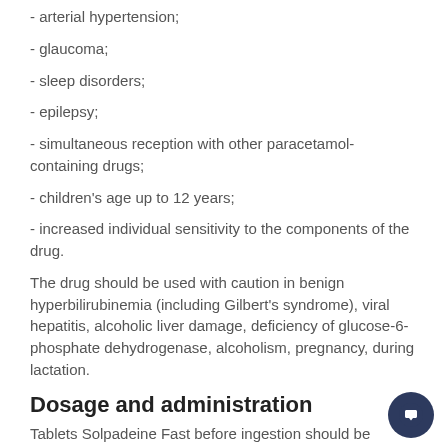- arterial hypertension;
- glaucoma;
- sleep disorders;
- epilepsy;
- simultaneous reception with other paracetamol-containing drugs;
- children's age up to 12 years;
- increased individual sensitivity to the components of the drug.
The drug should be used with caution in benign hyperbilirubinemia (including Gilbert's syndrome), viral hepatitis, alcoholic liver damage, deficiency of glucose-6-phosphate dehydrogenase, alcoholism, pregnancy, during lactation.
Dosage and administration
Tablets Solpadeine Fast before ingestion should be